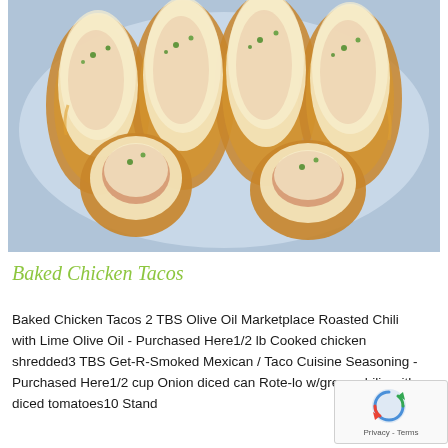[Figure (photo): Overhead photo of baked chicken tacos in taco shells arranged in a baking dish, topped with melted white cheese and fresh chopped cilantro/herbs, golden-brown shells visible]
Baked Chicken Tacos
Baked Chicken Tacos 2 TBS Olive Oil Marketplace Roasted Chili with Lime Olive Oil - Purchased Here1/2 lb Cooked chicken shredded3 TBS Get-R-Smoked Mexican / Taco Cuisine Seasoning - Purchased Here1/2 cup Onion diced can Rote-lo w/green chilis with diced tomatoes10 Stand